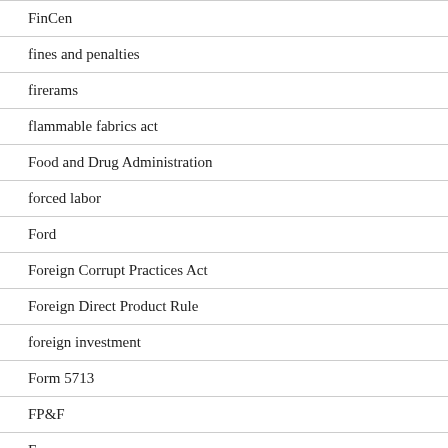FinCen
fines and penalties
firerams
flammable fabrics act
Food and Drug Administration
forced labor
Ford
Foreign Corrupt Practices Act
Foreign Direct Product Rule
foreign investment
Form 5713
FP&F
France
freight forwarder
FSS